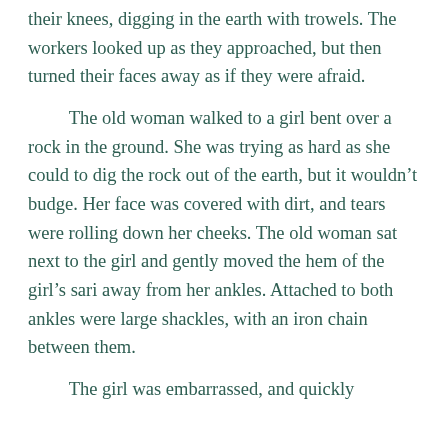their knees, digging in the earth with trowels. The workers looked up as they approached, but then turned their faces away as if they were afraid.

The old woman walked to a girl bent over a rock in the ground. She was trying as hard as she could to dig the rock out of the earth, but it wouldn't budge. Her face was covered with dirt, and tears were rolling down her cheeks. The old woman sat next to the girl and gently moved the hem of the girl's sari away from her ankles. Attached to both ankles were large shackles, with an iron chain between them.

The girl was embarrassed, and quickly